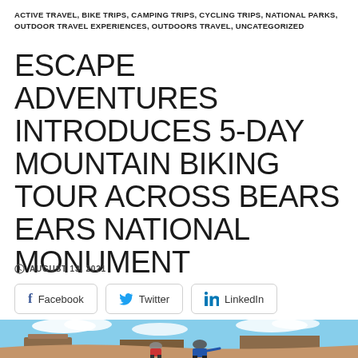ACTIVE TRAVEL, BIKE TRIPS, CAMPING TRIPS, CYCLING TRIPS, NATIONAL PARKS, OUTDOOR TRAVEL EXPERIENCES, OUTDOORS TRAVEL, UNCATEGORIZED
ESCAPE ADVENTURES INTRODUCES 5-DAY MOUNTAIN BIKING TOUR ACROSS BEARS EARS NATIONAL MONUMENT
AUGUST 13, 2021
[Figure (other): Three social sharing buttons: Facebook (blue f icon), Twitter (blue bird icon), LinkedIn (blue in icon)]
[Figure (photo): Two mountain bikers with helmets viewed from behind, looking out over a vast desert landscape with red rock mesas under a partly cloudy sky. Bears Ears National Monument, Utah.]